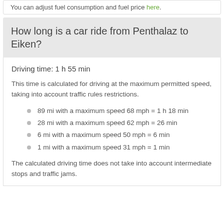You can adjust fuel consumption and fuel price here.
How long is a car ride from Penthalaz to Eiken?
Driving time: 1 h 55 min
This time is calculated for driving at the maximum permitted speed, taking into account traffic rules restrictions.
89 mi with a maximum speed 68 mph = 1 h 18 min
28 mi with a maximum speed 62 mph = 26 min
6 mi with a maximum speed 50 mph = 6 min
1 mi with a maximum speed 31 mph = 1 min
The calculated driving time does not take into account intermediate stops and traffic jams.